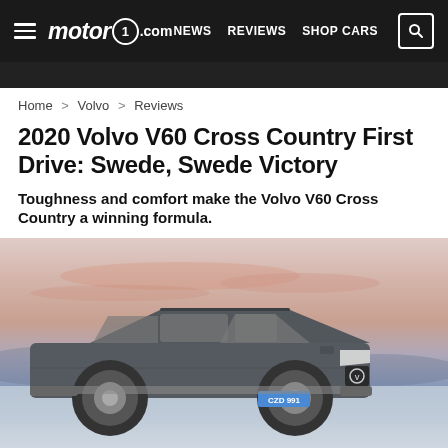motor1.com  NEWS  REVIEWS  SHOP CARS
Home > Volvo > Reviews
2020 Volvo V60 Cross Country First Drive: Swede, Swede Victory
Toughness and comfort make the Volvo V60 Cross Country a winning formula.
[Figure (photo): 2020 Volvo V60 Cross Country wagon in dark grey photographed on a frozen lake with a pink and lavender sunset sky. License plate reads CZD 991.]